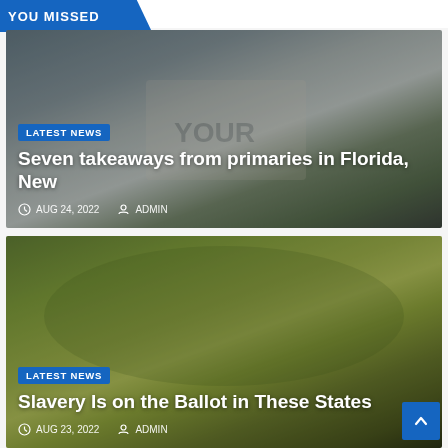YOU MISSED
[Figure (photo): Person holding a sign with the word YOUR in an outdoor crowd scene with blurred background buildings]
LATEST NEWS
Seven takeaways from primaries in Florida, New
AUG 24, 2022   ADMIN
[Figure (photo): People working in a lush green field, historical scene depicting agricultural labor]
LATEST NEWS
Slavery Is on the Ballot in These States
AUG 23, 2022   ADMIN